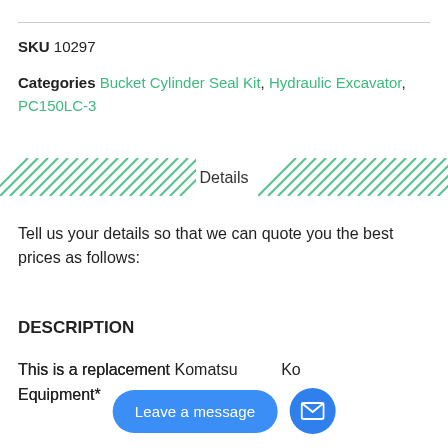SKU 10297
Categories Bucket Cylinder Seal Kit, Hydraulic Excavator, PC150LC-3
Details
Tell us your details so that we can quote you the best prices as follows:
DESCRIPTION
This is a replacement [part for] Komatsu Equipment*